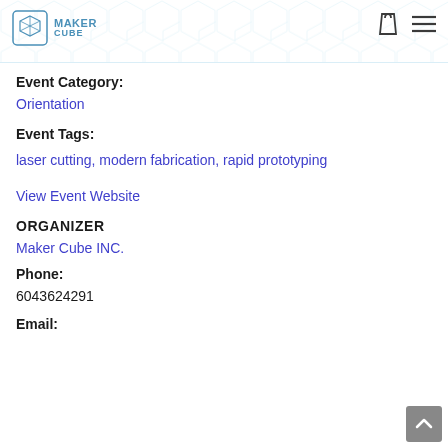Maker Cube
Event Category:
Orientation
Event Tags:
laser cutting, modern fabrication, rapid prototyping
View Event Website
ORGANIZER
Maker Cube INC.
Phone:
6043624291
Email: